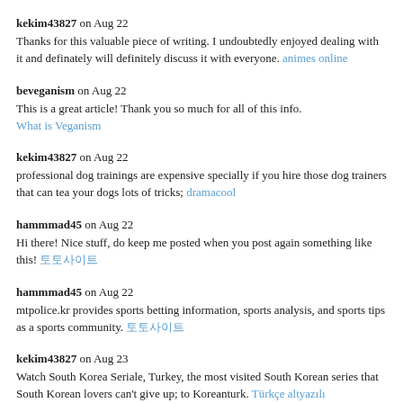kekim43827 on Aug 22
Thanks for this valuable piece of writing. I undoubtedly enjoyed dealing with it and definately will definitely discuss it with everyone. animes online
beveganism on Aug 22
This is a great article! Thank you so much for all of this info.
What is Veganism
kekim43827 on Aug 22
professional dog trainings are expensive specially if you hire those dog trainers that can teach your dogs lots of tricks; dramacool
hammmad45 on Aug 22
Hi there! Nice stuff, do keep me posted when you post again something like this! 토토사이트
hammmad45 on Aug 22
mtpolice.kr provides sports betting information, sports analysis, and sports tips as a sports community. 토토사이트
kekim43827 on Aug 23
Watch South Korea Seriale, Turkey, the most visited South Korean series that South Korean lovers can't give up; to Koreanturk. Türkçe altyazılı
hammmad45 on Aug 23